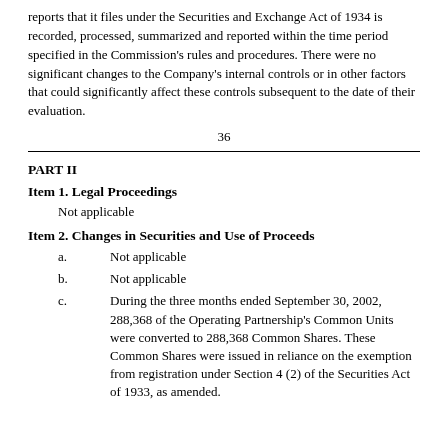reports that it files under the Securities and Exchange Act of 1934 is recorded, processed, summarized and reported within the time period specified in the Commission's rules and procedures. There were no significant changes to the Company's internal controls or in other factors that could significantly affect these controls subsequent to the date of their evaluation.
36
PART II
Item 1. Legal Proceedings
Not applicable
Item 2. Changes in Securities and Use of Proceeds
a.	Not applicable
b.	Not applicable
c.	During the three months ended September 30, 2002, 288,368 of the Operating Partnership's Common Units were converted to 288,368 Common Shares. These Common Shares were issued in reliance on the exemption from registration under Section 4 (2) of the Securities Act of 1933, as amended.